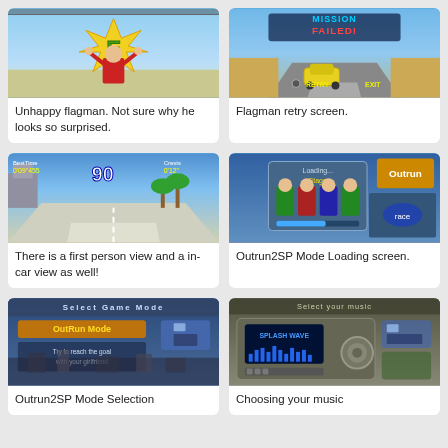[Figure (screenshot): Unhappy flagman in a racing video game, character holding hands to head with a yellow starburst effect and letter E visible]
Unhappy flagman. Not sure why he looks so surprised.
[Figure (screenshot): Mission Failed screen in a racing game with RETRY and EXIT options, yellow car on race track]
Flagman retry screen.
[Figure (screenshot): First person / in-car view of a racing game, showing a road with palm trees, score 90 visible]
There is a first person view and a in-car view as well!
[Figure (screenshot): Outrun2SP Mode Loading screen showing character lineup with loading bar and stage selection]
Outrun2SP Mode Loading screen.
[Figure (screenshot): Select Game Mode screen for Outrun2SP showing OutRun Mode highlighted with text: Try to reach the goal with your girlfriend]
Outrun2SP Mode Selection
[Figure (screenshot): Select your music screen showing a car stereo/radio interface with SPLASH WAVE track selected and audio visualizer bars]
Choosing your music